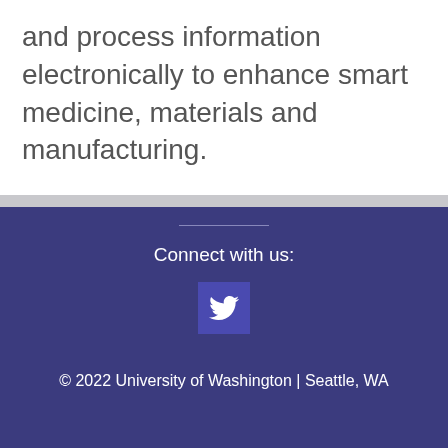and process information electronically to enhance smart medicine, materials and manufacturing.
Connect with us:
[Figure (logo): Twitter bird icon in white on dark purple/blue square background]
© 2022 University of Washington | Seattle, WA